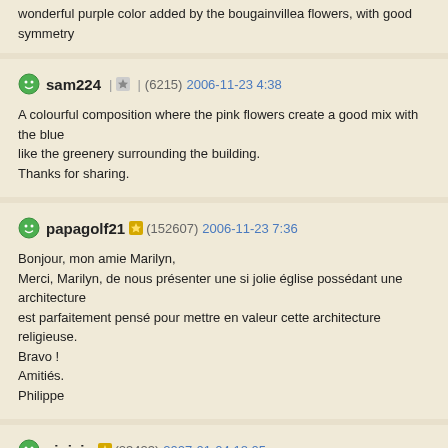wonderful purple color added by the bougainvillea flowers, with good symmetry
sam224 | ★ | (6215) 2006-11-23 4:38
A colourful composition where the pink flowers create a good mix with the blue sky, like the greenery surrounding the building.
Thanks for sharing.
papagolf21 | ★ | (152607) 2006-11-23 7:36
Bonjour, mon amie Marilyn,
Merci, Marilyn, de nous présenter une si jolie église possédant une architecture est parfaitement pensé pour mettre en valeur cette architecture religieuse.
Bravo !
Amitiés.
Philippe
vinicio | ★ | (23423) 2007-01-04 18:05
Beautiful chapel dipped in this beautiful green and beautiful flowers, well seen atmosphere is very nice and the image lovely.
Happy new year.
Ciao
Vinicio